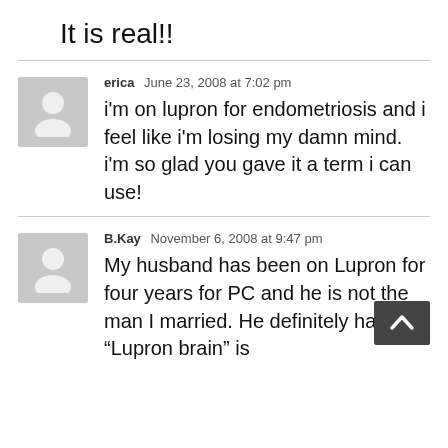It is real!!
erica  June 23, 2008 at 7:02 pm
i'm on lupron for endometriosis and i feel like i'm losing my damn mind. i'm so glad you gave it a term i can use!
B.Kay  November 6, 2008 at 9:47 pm
My husband has been on Lupron for four years for PC and he is not the man I married. He definitely has “Lupron brain” is